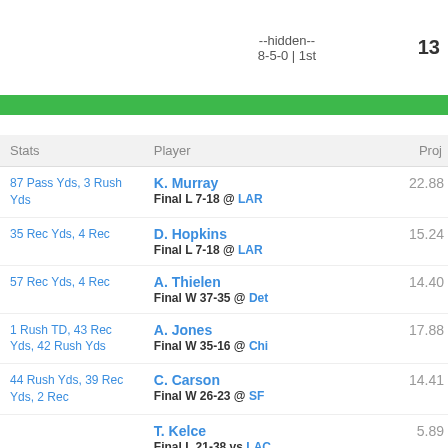--hidden-- 8-5-0 | 1st   13
| Stats | Player | Proj |
| --- | --- | --- |
| 87 Pass Yds, 3 Rush Yds | K. Murray Final L 7-18 @ LAR | 22.88 |
| 35 Rec Yds, 4 Rec | D. Hopkins Final L 7-18 @ LAR | 15.24 |
| 57 Rec Yds, 4 Rec | A. Thielen Final W 37-35 @ Det | 14.40 |
| 1 Rush TD, 43 Rec Yds, 42 Rush Yds | A. Jones Final W 35-16 @ Chi | 17.88 |
| 44 Rush Yds, 39 Rec Yds, 2 Rec | C. Carson Final W 26-23 @ SF | 14.41 |
|  | T. Kelce Final L 21-38 vs LAC | 5.89 |
|  | L. Bell Final W 44-27 vs Atl | 6.02 |